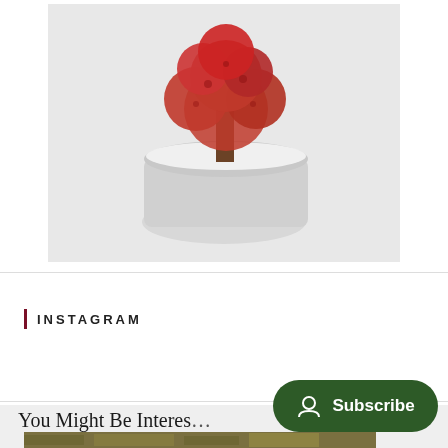[Figure (photo): Red fluffy cactus plant in a white round pot with white gravel, on a white background]
INSTAGRAM
You Might Be Interes…
[Figure (photo): Scattered US dollar bills]
[Figure (other): Subscribe button with person icon on dark green rounded rectangle background]